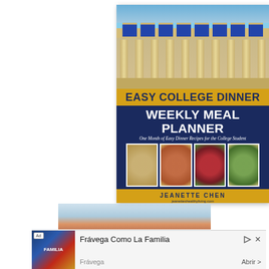[Figure (photo): Book cover: 'Easy College Dinner Weekly Meal Planner - One Month of Easy Dinner Recipes for the College Student' by Jeanette Chen (jeanetteshealthyliving.com). Cover shows a neoclassical university building at top, yellow banner with title, navy blue section with subtitle, four food photos showing various dinner dishes, and author name on yellow banner at bottom.]
[Figure (photo): Partial view of another image below the book cover, showing blue and orange/warm tones, partially cut off.]
Ad  Frávega Como La Familia  Frávega  Abrir >